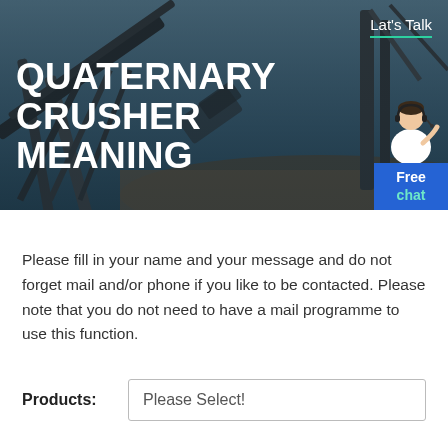[Figure (photo): Industrial crusher/conveyor equipment scene with dark overlay background. Shows large industrial machinery at a mining or quarrying site.]
Lat's Talk
QUATERNARY CRUSHER MEANING
Free chat
Please fill in your name and your message and do not forget mail and/or phone if you like to be contacted. Please note that you do not need to have a mail programme to use this function.
Products: Please Select!